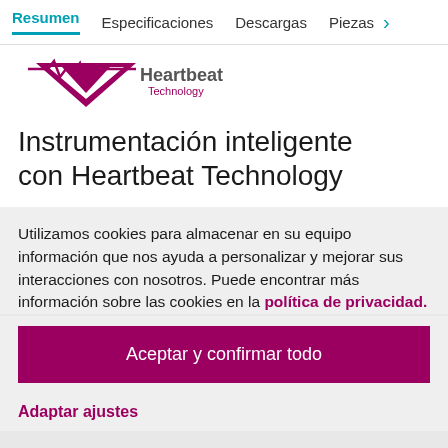Resumen   Especificaciones   Descargas   Piezas >
[Figure (logo): Heartbeat Technology logo with pink/magenta chevron/downward arrow graphic and heartbeat line, with text 'Heartbeat Technology']
Instrumentación inteligente con Heartbeat Technology
Utilizamos cookies para almacenar en su equipo información que nos ayuda a personalizar y mejorar sus interacciones con nosotros. Puede encontrar más información sobre las cookies en la política de privacidad.
Aceptar y confirmar todo
Adaptar ajustes